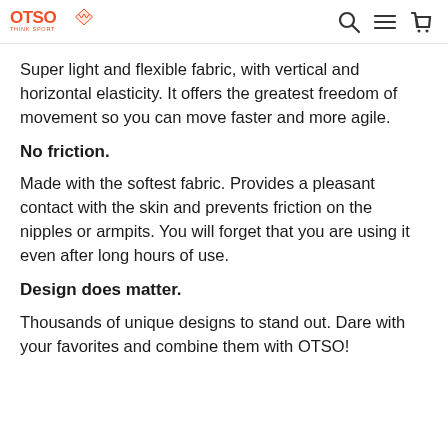OTSO THINK SPORT
Super light and flexible fabric, with vertical and horizontal elasticity. It offers the greatest freedom of movement so you can move faster and more agile.
No friction.
Made with the softest fabric. Provides a pleasant contact with the skin and prevents friction on the nipples or armpits. You will forget that you are using it even after long hours of use.
Design does matter.
Thousands of unique designs to stand out. Dare with your favorites and combine them with OTSO!